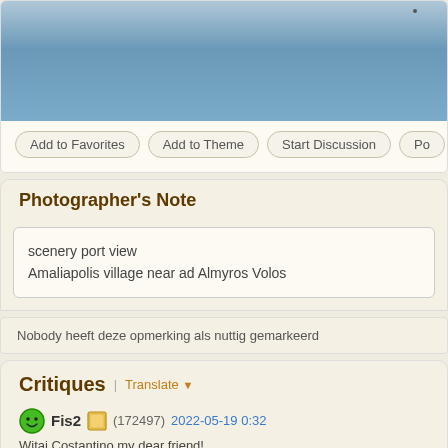[Figure (photo): Cropped photo showing blue water/sea surface, partial view]
Add to Favorites | Add to Theme | Start Discussion | Po...
Photographer's Note
scenery port view
Amaliapolis village near ad Almyros Volos
Nobody heeft deze opmerking als nuttig gemarkeerd
Critiques
Fis2 (172497) 2022-05-19 0:32
Witaj Costantino my dear friend!